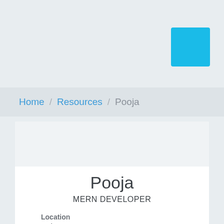[Figure (other): Cyan/blue rounded square button in top-right corner of page header area]
Home / Resources / Pooja
Pooja
MERN DEVELOPER
Location
Indore
Experience
4 Year